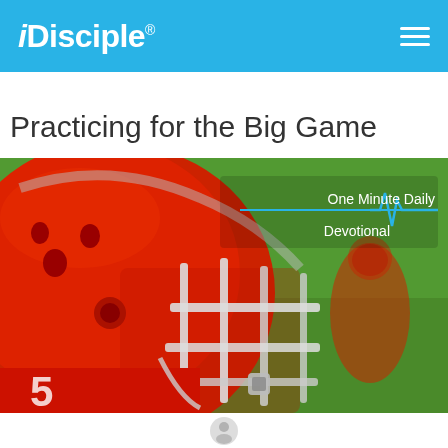iDisciple®
Practicing for the Big Game
[Figure (photo): Close-up of a football player wearing a red helmet and red jersey, with another player blurred in the background on a green field. Overlay text reads 'One Minute Daily Devotional' with a pulse/heartbeat line graphic.]